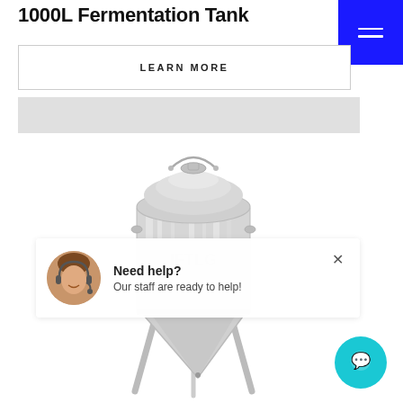1000L Fermentation Tank
LEARN MORE
[Figure (photo): 1000L stainless steel conical fermentation tank with a domed top, handle/bar on top, and conical bottom with support legs. Logo text partially visible on body.]
Need help? Our staff are ready to help!